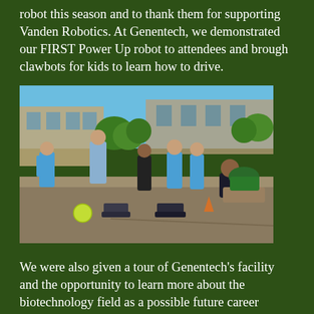robot this season and to thank them for supporting Vanden Robotics. At Genentech, we demonstrated our FIRST Power Up robot to attendees and brough clawbots for kids to learn how to drive.
[Figure (photo): Outdoor photo at Genentech facility showing children in blue t-shirts and a teenager kneeling, with small robots on the ground. A bright yellow-green ball is visible. Buildings and trees are in the background.]
We were also given a tour of Genentech's facility and the opportunity to learn more about the biotechnology field as a possible future career option. Overall, this event was a great